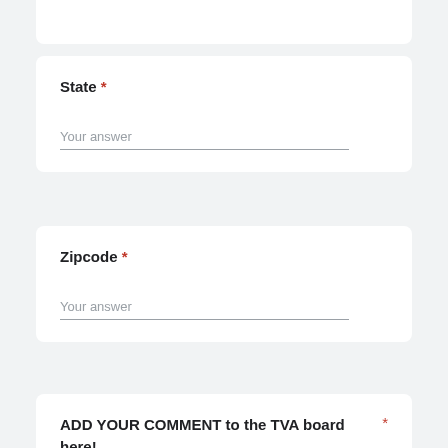[Partial card top]
State *
Your answer
Zipcode *
Your answer
ADD YOUR COMMENT to the TVA board here! *
Tell TVA that future TVA board meetings should include a virtual public listening